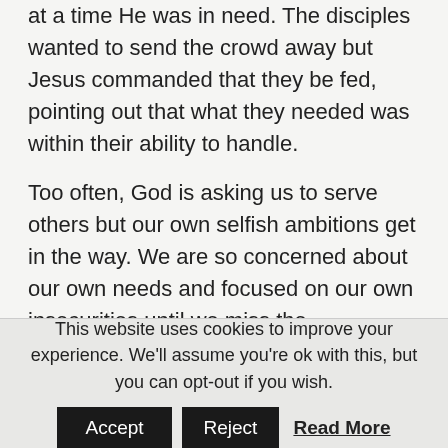at a time He was in need. The disciples wanted to send the crowd away but Jesus commanded that they be fed, pointing out that what they needed was within their ability to handle.
Too often, God is asking us to serve others but our own selfish ambitions get in the way. We are so concerned about our own needs and focused on our own insecurities until we miss the multiplication that is possible when God is with us. It is not within our own power to always meet the needs of the crowd. The key is recognizing God is always the source.  When we come to Him admitting our insufficiency, He takes what we
This website uses cookies to improve your experience. We'll assume you're ok with this, but you can opt-out if you wish.